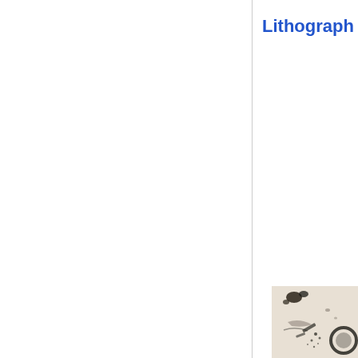Lithograph
[Figure (illustration): Partial view of a lithograph artwork showing abstract or figurative marks — dark brushstrokes, scattered dots, and a circular element on a light beige/cream background. Only the upper-left portion of the image is visible.]